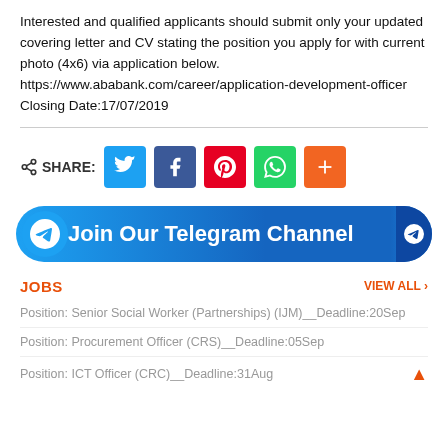Interested and qualified applicants should submit only your updated covering letter and CV stating the position you apply for with current photo (4x6) via application below.
https://www.ababank.com/career/application-development-officer
Closing Date:17/07/2019
[Figure (infographic): Share buttons row: share icon, Twitter (blue), Facebook (dark blue), Pinterest (red), WhatsApp (green), More/Plus (orange)]
[Figure (infographic): Join Our Telegram Channel banner with Telegram logo on dark blue rounded rectangle background]
JOBS
Position: Senior Social Worker (Partnerships) (IJM)__Deadline:20Sep
Position: Procurement Officer (CRS)__Deadline:05Sep
Position: ICT Officer (CRC)__Deadline:31Aug